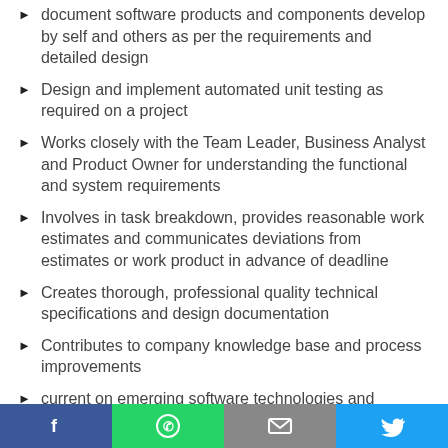document software products and components develop by self and others as per the requirements and detailed design
Design and implement automated unit testing as required on a project
Works closely with the Team Leader, Business Analyst and Product Owner for understanding the functional and system requirements
Involves in task breakdown, provides reasonable work estimates and communicates deviations from estimates or work product in advance of deadline
Creates thorough, professional quality technical specifications and design documentation
Contributes to company knowledge base and process improvements
current on emerging software technologies and